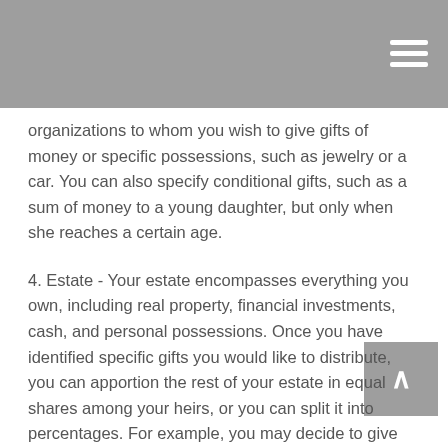organizations to whom you wish to give gifts of money or specific possessions, such as jewelry or a car. You can also specify conditional gifts, such as a sum of money to a young daughter, but only when she reaches a certain age.
4. Estate - Your estate encompasses everything you own, including real property, financial investments, cash, and personal possessions. Once you have identified specific gifts you would like to distribute, you can apportion the rest of your estate in equal shares among your heirs, or you can split it into percentages. For example, you may decide to give 45 percent each to two children and the remaining 10 percent to a sibling.
The law does not require that a will be drawn up by a